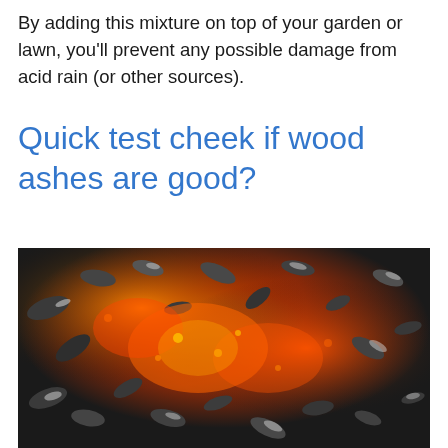By adding this mixture on top of your garden or lawn, you'll prevent any possible damage from acid rain (or other sources).
Quick test cheek if wood ashes are good?
[Figure (photo): Close-up photograph of wood ashes and burning embers, showing glowing orange/red coals mixed with grey and black charred wood pieces.]